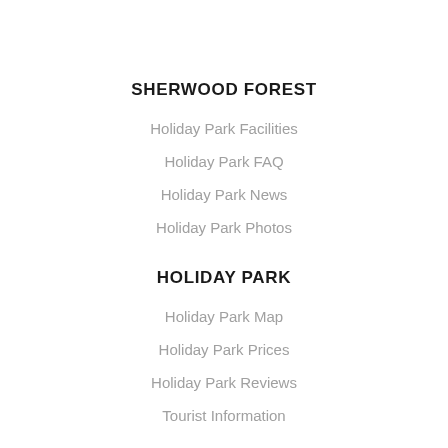SHERWOOD FOREST
Holiday Park Facilities
Holiday Park FAQ
Holiday Park News
Holiday Park Photos
HOLIDAY PARK
Holiday Park Map
Holiday Park Prices
Holiday Park Reviews
Tourist Information